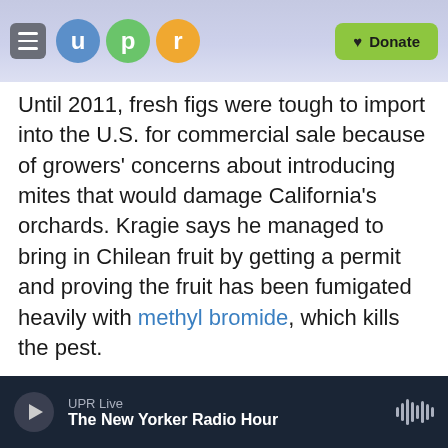UPR — u p r — Donate
Until 2011, fresh figs were tough to import into the U.S. for commercial sale because of growers' concerns about introducing mites that would damage California's orchards. Kragie says he managed to bring in Chilean fruit by getting a permit and proving the fruit has been fumigated heavily with methyl bromide, which kills the pest.
Herman believes the imported Chilean figs could mess up the game plan just a bit. He has tried these figs, he says, and he wasn't impressed with their stiff, dry texture and flat taste. His concern is that such fruit will tarnish the reputation of all figs —
UPR Live — The New Yorker Radio Hour